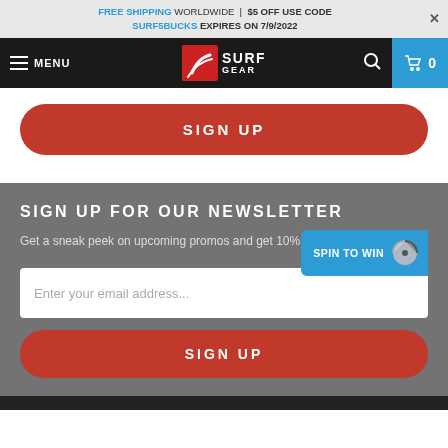FREE SHIPPING WORLDWIDE | $5 OFF USE CODE SURF5BUCKS EXPIRES ON 7/9/2022
[Figure (logo): Surf Gear logo with stylized wave icon and text SURF GEAR on dark navigation bar]
SIGN UP
SIGN UP FOR OUR NEWSLETTER
Get a sneak peek on upcoming promos and get 10% off your first order!
Enter your email address...
SIGN UP